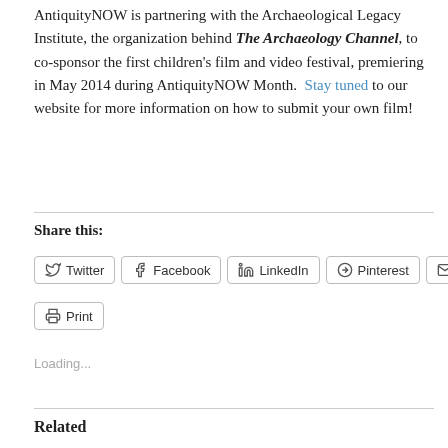AntiquityNOW is partnering with the Archaeological Legacy Institute, the organization behind The Archaeology Channel, to co-sponsor the first children's film and video festival, premiering in May 2014 during AntiquityNOW Month.  Stay tuned to our website for more information on how to submit your own film!
Share this:
Twitter Facebook LinkedIn Pinterest Email Print
Loading...
Related